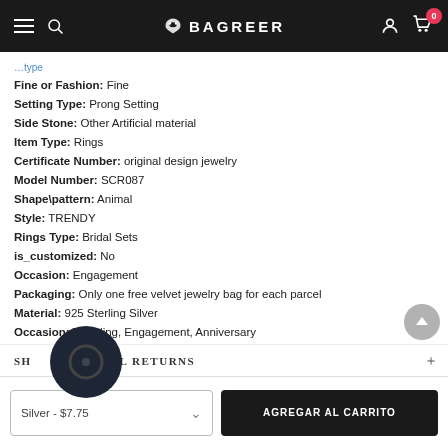BAGREER
Fine or Fashion: Fine
Setting Type: Prong Setting
Side Stone: Other Artificial material
Item Type: Rings
Certificate Number: original design jewelry
Model Number: SCR087
Shape\pattern: Animal
Style: TRENDY
Rings Type: Bridal Sets
is_customized: No
Occasion: Engagement
Packaging: Only one free velvet jewelry bag for each parcel
Material: 925 Sterling Silver
Occasion: Wedding, Engagement, Anniversary
SHIPPING & RETURNS
Silver - $7.75
AGREGAR AL CARRITO